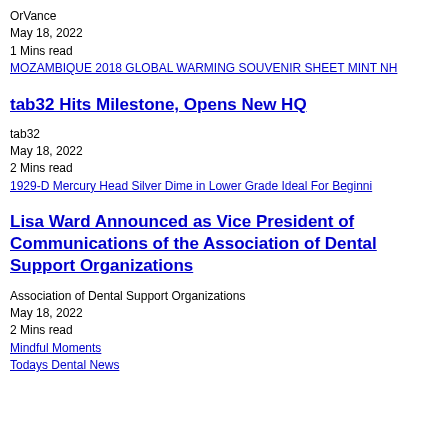OrVance
May 18, 2022
1 Mins read
MOZAMBIQUE 2018 GLOBAL WARMING SOUVENIR SHEET MINT NH
tab32 Hits Milestone, Opens New HQ
tab32
May 18, 2022
2 Mins read
1929-D Mercury Head Silver Dime in Lower Grade Ideal For Beginni
Lisa Ward Announced as Vice President of Communications of the Association of Dental Support Organizations
Association of Dental Support Organizations
May 18, 2022
2 Mins read
Mindful Moments
Todays Dental News